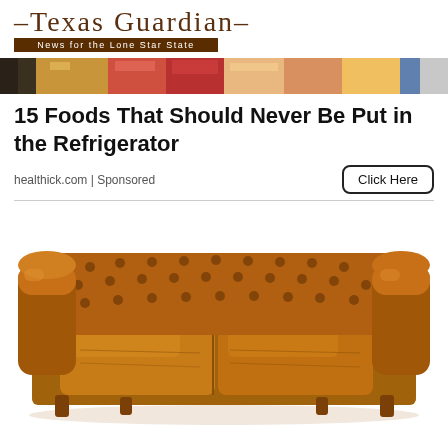Texas Guardian — News for the Lone Star State
[Figure (photo): Strip of food photos showing refrigerator contents]
15 Foods That Should Never Be Put in the Refrigerator
healthick.com | Sponsored
[Figure (photo): Brown tufted leather Chesterfield loveseat sofa on white background]